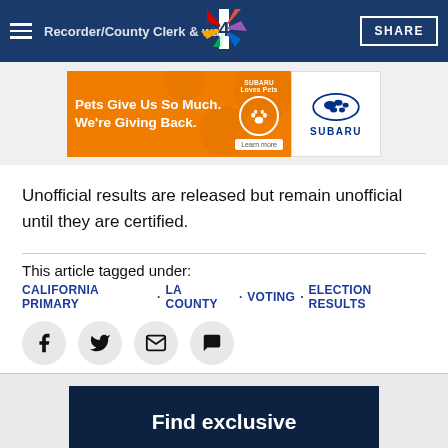Recorder/County Clerk & walk | SHARE
[Figure (other): Subaru advertisement banner: Pets Give Us So Much. We're Giving Back. Subaru Loves Pets. Learn more. Subaru logo.]
Unofficial results are released but remain unofficial until they are certified.
This article tagged under:
CALIFORNIA PRIMARY • LA COUNTY • VOTING • ELECTION RESULTS
[Figure (other): Social sharing icons: Facebook, Twitter, Email, Comment]
Find exclusive